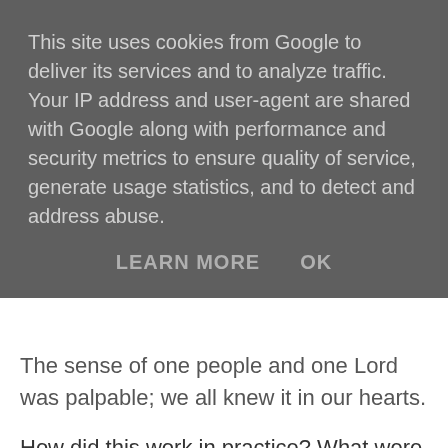This site uses cookies from Google to deliver its services and to analyze traffic. Your IP address and user-agent are shared with Google along with performance and security metrics to ensure quality of service, generate usage statistics, and to detect and address abuse.
LEARN MORE   OK
The sense of one people and one Lord was palpable; we all knew it in our hearts.
How did this work in practice? What were the unspoken rules of engagement? There were just the two already mentioned, lead and follow, follow and lead. We trusted one another, we encouraged one another, we were not afraid to correct one another when necessary, we sensed the responsibility of leading when we were called to do that, and we also understood the value of following. This was never a matter of authority and obedience. There were no individuals 'in authority' over others. But we recognised wisdom, grace, gifting and truth in one another and we knew in our hearts that we were truly one body and there was only one head. We loved one another. Think of a shoal of fish. How do they